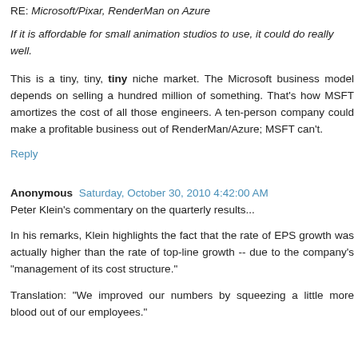RE: Microsoft/Pixar, RenderMan on Azure
If it is affordable for small animation studios to use, it could do really well.
This is a tiny, tiny, tiny niche market. The Microsoft business model depends on selling a hundred million of something. That's how MSFT amortizes the cost of all those engineers. A ten-person company could make a profitable business out of RenderMan/Azure; MSFT can't.
Reply
Anonymous  Saturday, October 30, 2010 4:42:00 AM
Peter Klein's commentary on the quarterly results...
In his remarks, Klein highlights the fact that the rate of EPS growth was actually higher than the rate of top-line growth -- due to the company's "management of its cost structure."
Translation: "We improved our numbers by squeezing a little more blood out of our employees."